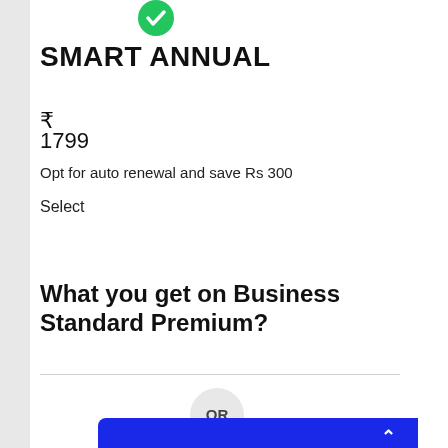[Figure (logo): Green circle checkmark icon]
SMART ANNUAL
₹
1799
Opt for auto renewal and save Rs 300
Select
What you get on Business Standard Premium?
OR
[Figure (screenshot): Blue banner/button area at bottom with scroll-to-top button on right]